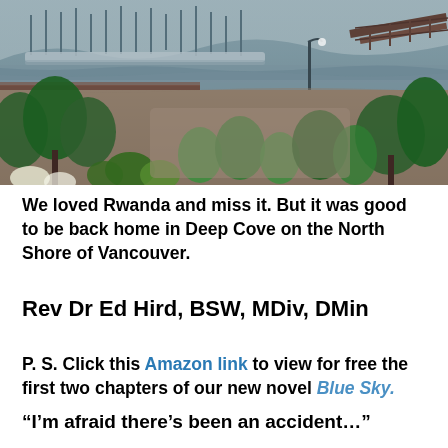[Figure (photo): Aerial/elevated view of a marina with boats and reflective calm water, a dock/pier on the right, trees and landscaped area in the foreground, street lamp visible — Deep Cove on the North Shore of Vancouver.]
We loved Rwanda and miss it. But it was good to be back home in Deep Cove on the North Shore of Vancouver.
Rev Dr Ed Hird, BSW, MDiv, DMin
P. S. Click this Amazon link to view for free the first two chapters of our new novel Blue Sky.
“I’m afraid there’s been an accident…”